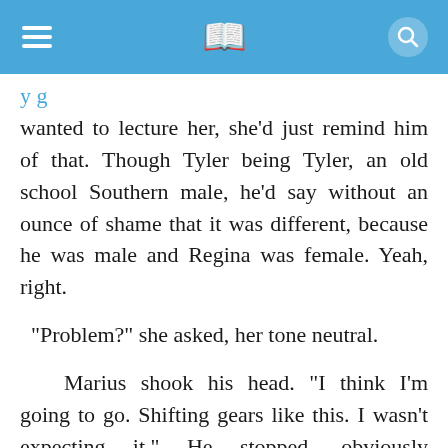☰ 📖 🔍
wanted to lecture her, she'd just remind him of that. Though Tyler being Tyler, an old school Southern male, he'd say without an ounce of shame that it was different, because he was male and Regina was female. Yeah, right.
"Problem?" she asked, her tone neutral.
Marius shook his head. "I think I'm going to go. Shifting gears like this. I wasn't expecting it." He stopped, obviously struggling with what he was really trying to say. Or how to escape without actually saying it.